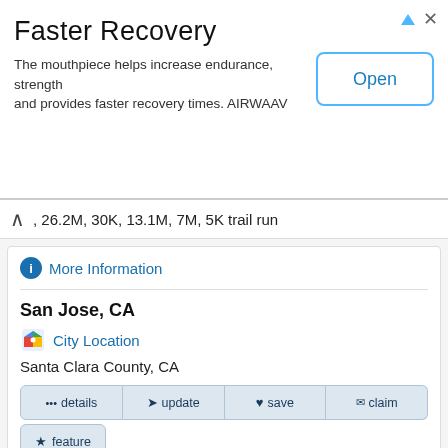[Figure (screenshot): Advertisement banner for Faster Recovery mouthpiece product with Open button]
Faster Recovery
The mouthpiece helps increase endurance, strength and provides faster recovery times. AIRWAAV
, 26.2M, 30K, 13.1M, 7M, 5K trail run
More Information
San Jose, CA
City Location
Santa Clara County, CA
details
update
save
claim
feature
11. PBR Half Marathon
Feb 4, 2023
Saturday